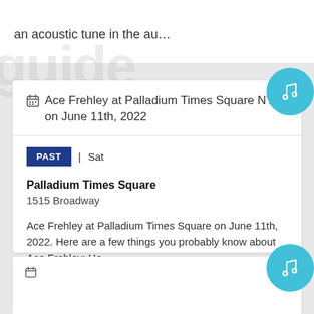an acoustic tune in the au…
Ace Frehley at Palladium Times Square NYC on June 11th, 2022
PAST | Sat
Palladium Times Square
1515 Broadway
Ace Frehley at Palladium Times Square on June 11th, 2022. Here are a few things you probably know about Ace Frehley: He…